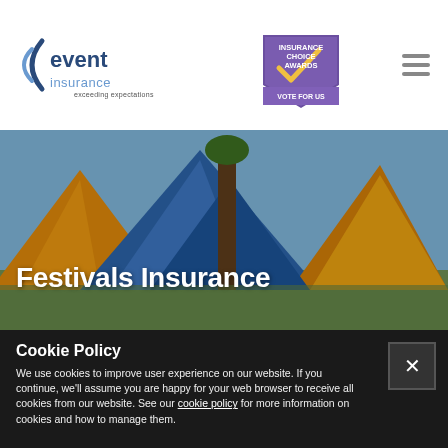[Figure (logo): Event Insurance logo with arc, text 'event insurance exceeding expectations established 1995']
[Figure (logo): Insurance Choice Awards badge - purple pentagon shape with gold chevron, text 'INSURANCE CHOICE AWARDS VOTE FOR US']
[Figure (illustration): Hamburger menu icon - three horizontal lines]
[Figure (photo): Colorful festival camping tents (blue, orange, yellow) packed together outdoors]
Festivals Insurance
Cookie Policy
We use cookies to improve user experience on our website. If you continue, we'll assume you are happy for your web browser to receive all cookies from our website. See our cookie policy for more information on cookies and how to manage them.